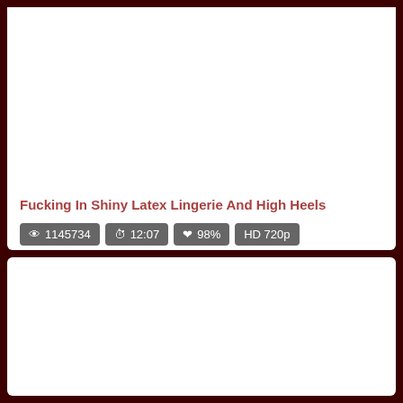Fucking In Shiny Latex Lingerie And High Heels
👁 1145734  🕐 12:07  ♥ 98%  HD 720p
[Figure (other): Video thumbnail area (blank white)]